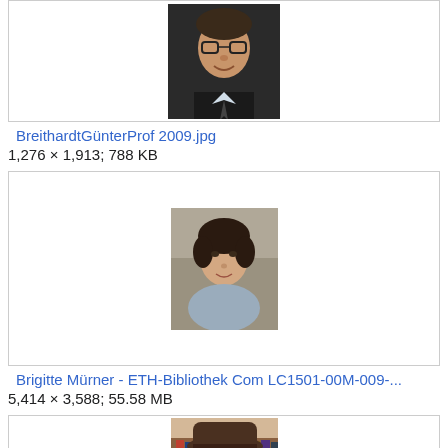[Figure (photo): Headshot of a man wearing glasses and a dark suit with tie]
BreithardtGünterProf 2009.jpg
1,276 × 1,913; 788 KB
[Figure (photo): Portrait photo of a woman with short dark hair, outdoors]
Brigitte Mürner - ETH-Bibliothek Com LC1501-00M-009-...
5,414 × 3,588; 55.58 MB
[Figure (photo): Photo showing a hat near bookshelves]